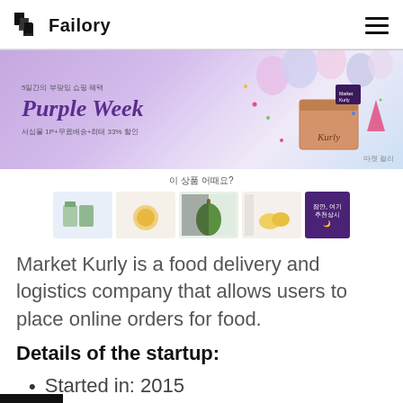Failory
[Figure (screenshot): Market Kurly Purple Week promotional banner in Korean with balloons and gift box]
[Figure (screenshot): Row of product thumbnail images with Korean label '이 상품 어때요?' above]
Market Kurly is a food delivery and logistics company that allows users to place online orders for food.
Details of the startup:
Started in: 2015